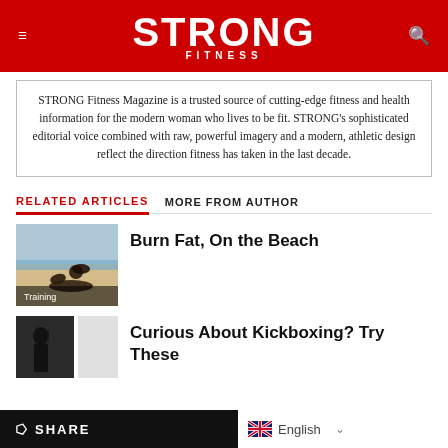STRONG FITNESS
STRONG Fitness Magazine is a trusted source of cutting-edge fitness and health information for the modern woman who lives to be fit. STRONG's sophisticated editorial voice combined with raw, powerful imagery and a modern, athletic design reflect the direction fitness has taken in the last decade.
RELATED ARTICLES   MORE FROM AUTHOR
[Figure (photo): Woman doing push-ups on a beach, with 'Training' label overlay]
Burn Fat, On the Beach
[Figure (photo): Person in dark clothing, partial view, second article thumbnail]
Curious About Kickboxing? Try These
SHARE   English